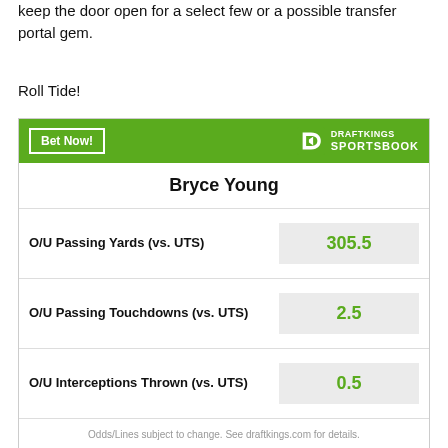keep the door open for a select few or a possible transfer portal gem.
Roll Tide!
[Figure (other): DraftKings Sportsbook betting widget for Bryce Young showing O/U Passing Yards (vs. UTS): 305.5, O/U Passing Touchdowns (vs. UTS): 2.5, O/U Interceptions Thrown (vs. UTS): 0.5]
Odds/Lines subject to change. See draftkings.com for details.